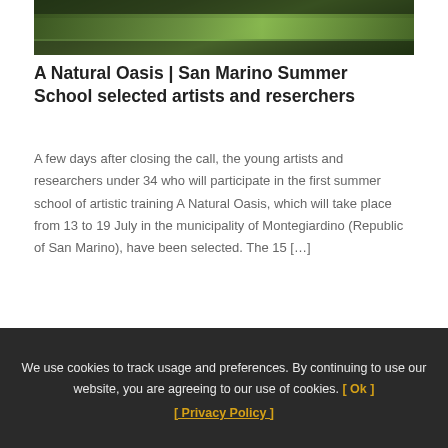[Figure (photo): Outdoor nature photo showing green foliage, trees and vegetation, partially cropped at the top of the page]
A Natural Oasis | San Marino Summer School selected artists and reserchers
A few days after closing the call, the young artists and researchers under 34 who will participate in the first summer school of artistic training A Natural Oasis, which will take place from 13 to 19 July in the municipality of Montegiardino (Republic of San Marino), have been selected. The 15 […]
Read more
We use cookies to track usage and preferences. By continuing to use our website, you are agreeing to our use of cookies. [ Ok ] [ Privacy Policy ]